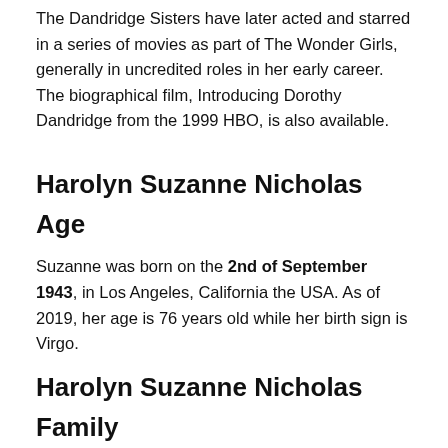The Dandridge Sisters have later acted and starred in a series of movies as part of The Wonder Girls, generally in uncredited roles in her early career. The biographical film, Introducing Dorothy Dandridge from the 1999 HBO, is also available.
Harolyn Suzanne Nicholas Age
Suzanne was born on the 2nd of September 1943, in Los Angeles, California the USA. As of 2019, her age is 76 years old while her birth sign is Virgo.
Harolyn Suzanne Nicholas Family
Parents
She is the only daughter of Dorothy Dandridge and Harold Lloyd. Her late mother Dorothy Jean Dandridge (1922-1965), one of the most famous Hollywood actresses of that period. She was the first African...